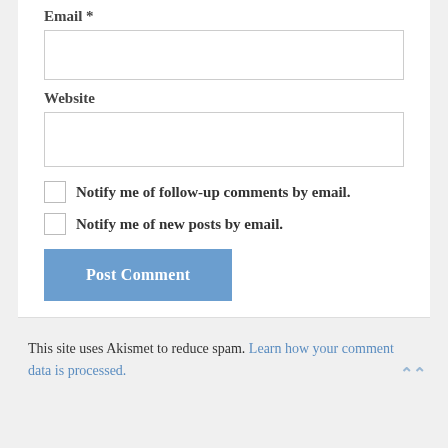Email *
(email input field)
Website
(website input field)
Notify me of follow-up comments by email.
Notify me of new posts by email.
Post Comment
This site uses Akismet to reduce spam. Learn how your comment data is processed.